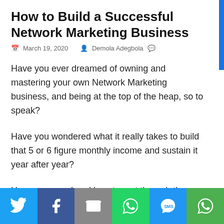How to Build a Successful Network Marketing Business
March 19, 2020  Demola Adegbola
Have you ever dreamed of owning and mastering your own Network Marketing business, and being at the top of the heap, so to speak?
Have you wondered what it really takes to build that 5 or 6 figure monthly income and sustain it year after year?
Have you wondered how to sort through the maze of companies, compensation plans